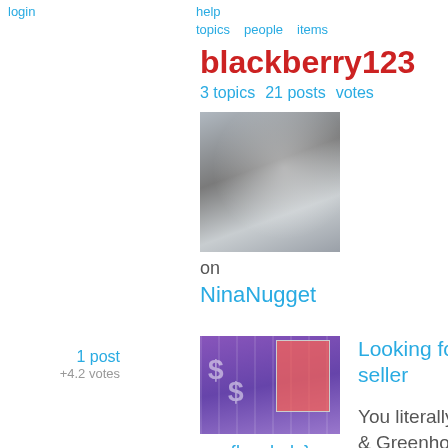login
help  topics  people  items
blackberry123
3 topics  21 posts  votes
[Figure (photo): Blurred close-up photo, appears to show fabric or clothing in grey/blue tones]
on
NinaNugget
1 post
+4.2 votes
[Figure (photo): Game show scene with people standing in front of a lit board with dollar signs in background]
on  {buy help}
Looking for a Belgium (or EU) based seller
You literally have 3 options ---Nero, Hootan & Greenhoney. At the moment i would suggest Nero only based on product variety. Nero and Hootan ship